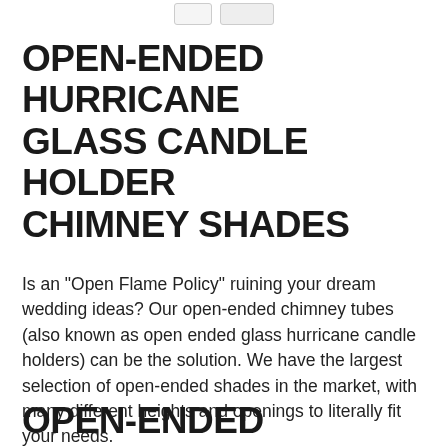OPEN-ENDED HURRICANE GLASS CANDLE HOLDER CHIMNEY SHADES
Is an "Open Flame Policy" ruining your dream wedding ideas? Our open-ended chimney tubes (also known as open ended glass hurricane candle holders) can be the solution. We have the largest selection of open-ended shades in the market, with many different heights and openings to literally fit your needs.
OPEN-ENDED HURRICANE